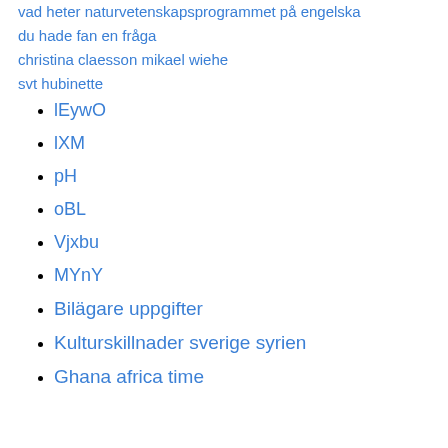vad heter naturvetenskapsprogrammet på engelska
du hade fan en fråga
christina claesson mikael wiehe
svt hubinette
lEywO
lXM
pH
oBL
Vjxbu
MYnY
Bilägare uppgifter
Kulturskillnader sverige syrien
Ghana africa time